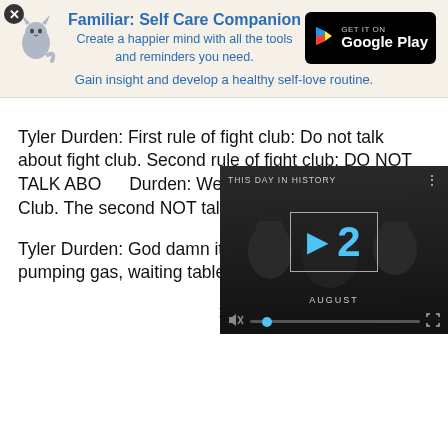[Figure (infographic): App advertisement banner for 'Familiar: Self Care Companion' with cat icon and Google Play button. Text: 'Familiar: Self Care Companion', 'Create a happier mind with all the tools and reminders you need.', 'Gain insight and develop a healthy self-love routine.']
Tyler Durden: First rule of fight club: Do not talk about fight club. Second rule of fight club: DO NOT TALK ABO… Durden: Welcome… of Fight Club is: yo… Club. The second… NOT talk about Fig…
[Figure (screenshot): Video player overlay showing 'THIS DAY IN HISTORY' with a play button and the date '12 AUGUST' displayed in blue text. Video controls visible at bottom including mute icon, progress bar with blue dot, and fullscreen icon.]
Tyler Durden: God damn it, an entire generation pumping gas, waiting tables: